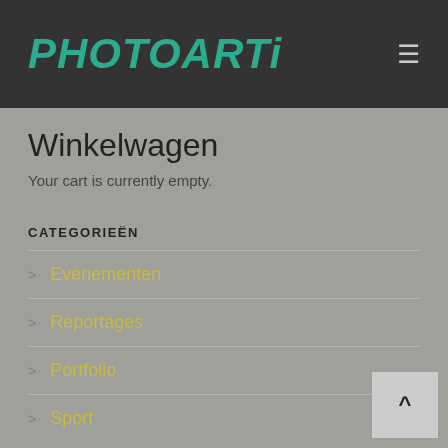PHOTOARTI
Winkelwagen
Your cart is currently empty.
CATEGORIEËN
Evenementen
Reportages
Portfolio
Sport